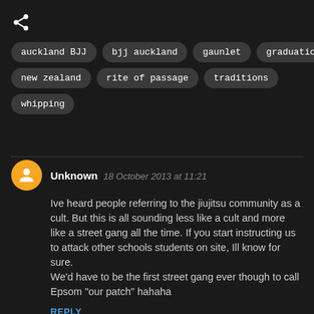auckland BJJ
bjj auckland
gaunlet
graduation
new zealand
rite of passage
traditions
whipping
Unknown  18 October 2013 at 11:21
Ive heard people referring to the jiujitsu community as a cult. But this is all sounding less like a cult and more like a street gang all the time. If you start instructing us to attack other schools students on site, Ill know for sure.
We'd have to be the first street gang ever though to call Epsom "our patch" hahaha
REPLY